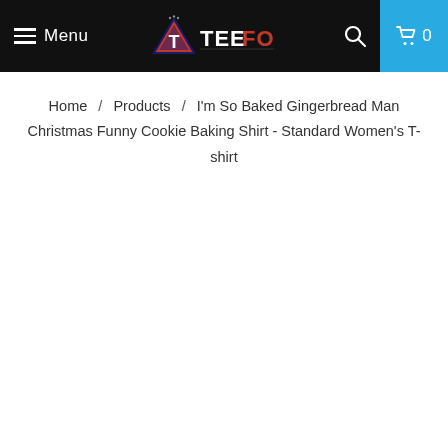Menu | TEEFONIX | [search] [cart 0]
Home / Products / I'm So Baked Gingerbread Man Christmas Funny Cookie Baking Shirt - Standard Women's T-shirt